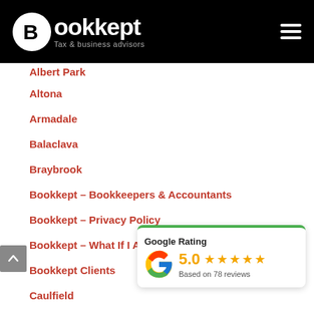[Figure (logo): Bookkept logo with white circle icon and text 'Bookkept Tax & business advisors' on black header bar]
Albert Park
Altona
Armadale
Balaclava
Braybrook
Bookkept – Bookkeepers & Accountants
Bookkept – Privacy Policy
Bookkept – What If I Already Have An Accountant?
Bookkept Clients
Caulfield
Central Park
Cremorne
Elsternwick
Elwood
[Figure (infographic): Google Rating widget showing 5.0 stars based on 78 reviews, with Google G logo and green top border]